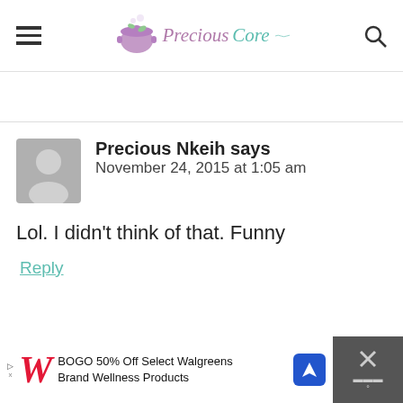Precious Core — website header with hamburger menu, logo, and search icon
Precious Nkeih says
November 24, 2015 at 1:05 am
Lol. I didn't think of that. Funny
Reply
[Figure (screenshot): Advertisement banner: Walgreens BOGO 50% Off Select Walgreens Brand Wellness Products, with navigation icon and close button]